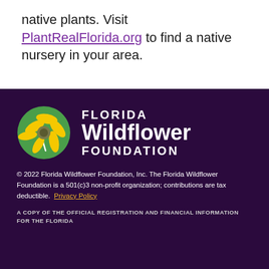native plants. Visit PlantRealFlorida.org to find a native nursery in your area.
[Figure (logo): Florida Wildflower Foundation logo: green circle with yellow wildflower, text reading FLORIDA Wildflower FOUNDATION in white on dark purple background]
© 2022 Florida Wildflower Foundation, Inc. The Florida Wildflower Foundation is a 501(c)3 non-profit organization; contributions are tax deductible. Privacy Policy
A COPY OF THE OFFICIAL REGISTRATION AND FINANCIAL INFORMATION FOR THE FLORIDA